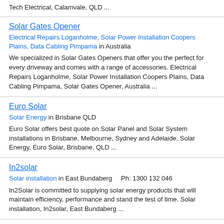Tech Electrical, Calamvale, QLD ...
Solar Gates Opener
Electrical Repairs Loganholme, Solar Power Installation Coopers Plains, Data Cabling Pimpama in Australia
We specialized in Solar Gates Openers that offer you the perfect for every driveway and comes with a range of accessories. Electrical Repairs Loganholme, Solar Power Installation Coopers Plains, Data Cabling Pimpama, Solar Gates Opener, Australia ...
Euro Solar
Solar Energy in Brisbane QLD
Euro Solar offers best quote on Solar Panel and Solar System installations in Brisbane, Melbourne, Sydney and Adelaide. Solar Energy, Euro Solar, Brisbane, QLD ...
In2solar
Solar installation in East Bundaberg    Ph: 1300 132 046
In2Solar is committed to supplying solar energy products that will maintain efficiency, performance and stand the test of time. Solar installation, In2solar, East Bundaberg ...
2gogreen